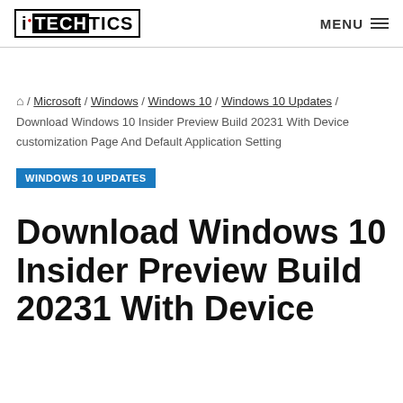iTECHTICS MENU
🏠 / Microsoft / Windows / Windows 10 / Windows 10 Updates / Download Windows 10 Insider Preview Build 20231 With Device customization Page And Default Application Setting
WINDOWS 10 UPDATES
Download Windows 10 Insider Preview Build 20231 With Device